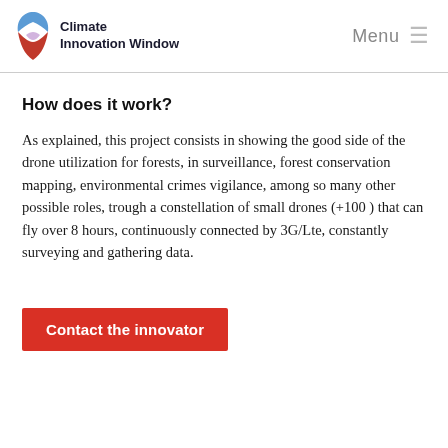Climate Innovation Window  Menu
How does it work?
As explained, this project consists in showing the good side of the drone utilization for forests, in surveillance, forest conservation mapping, environmental crimes vigilance, among so many other possible roles, trough a constellation of small drones (+100 ) that can fly over 8 hours, continuously connected by 3G/Lte, constantly surveying and gathering data.
Contact the innovator